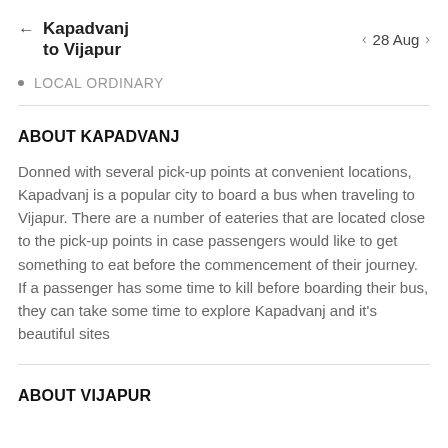Kapadvanj to Vijapur  |  28 Aug
LOCAL ORDINARY
ABOUT KAPADVANJ
Donned with several pick-up points at convenient locations, Kapadvanj is a popular city to board a bus when traveling to Vijapur. There are a number of eateries that are located close to the pick-up points in case passengers would like to get something to eat before the commencement of their journey. If a passenger has some time to kill before boarding their bus, they can take some time to explore Kapadvanj and it's beautiful sites
ABOUT VIJAPUR